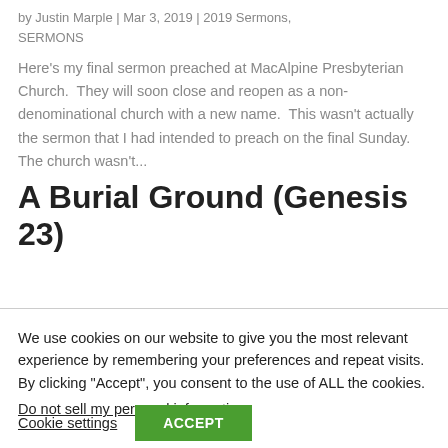by Justin Marple | Mar 3, 2019 | 2019 Sermons, SERMONS
Here’s my final sermon preached at MacAlpine Presbyterian Church.  They will soon close and reopen as a non-denominational church with a new name.  This wasn’t actually the sermon that I had intended to preach on the final Sunday.  The church wasn’t...
A Burial Ground (Genesis 23)
We use cookies on our website to give you the most relevant experience by remembering your preferences and repeat visits. By clicking “Accept”, you consent to the use of ALL the cookies.
Do not sell my personal information.
Cookie settings  ACCEPT